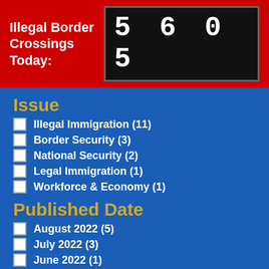Illegal Border Crossings Today: 5605
Issue
Illegal Immigration (11)
Border Security (3)
National Security (2)
Legal Immigration (1)
Workforce & Economy (1)
Published Date
August 2022 (5)
July 2022 (3)
June 2022 (1)
May 2022 (2)
April 2022 (9)
March 2022 (5)